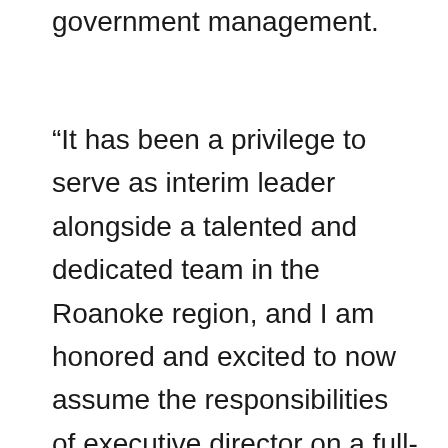government management.
“It has been a privilege to serve as interim leader alongside a talented and dedicated team in the Roanoke region, and I am honored and excited to now assume the responsibilities of executive director on a full-time basis. This position provides an amazing platform to strengthen existing connections Virginia Tech has built among organizations in the region, to foster new initiatives through community-university partnerships, and facilitate lifelong learning opportunities for individuals living and